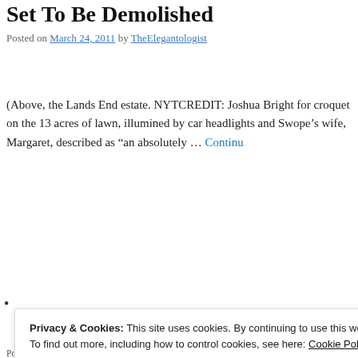Set To Be Demolished
Posted on March 24, 2011 by TheElegantologist
(Above, the Lands End estate. NYTCREDIT: Joshua Bright for croquet on the 13 acres of lawn, illumined by car headlights and Swope’s wife, Margaret, described as “an absolutely … Continue
Advertisements
[Figure (infographic): Advertisement for website builder: 'Simplified pricing for everything you need' with 'Build Your Website' button on gradient blue/purple background]
Privacy & Cookies: This site uses cookies. By continuing to use this website, you agree to their use.
To find out more, including how to control cookies, see here: Cookie Policy
Close and accept
Posted in In the News | Tagged Bernard Baruch, East Egg, F. Scott Fitzgero